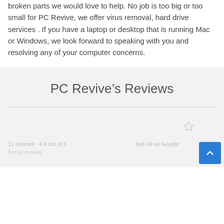broken parts we would love to help. No job is too big or too small for PC Revive, we offer virus removal, hard drive services . If you have a laptop or desktop that is running Mac or Windows, we look forward to speaking with you and resolving any of your computer concerns.
PC Revive’s Reviews